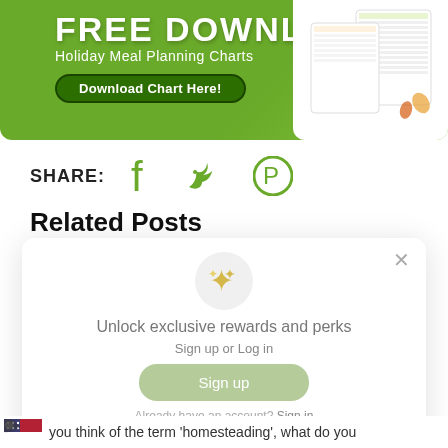[Figure (illustration): Green banner advertisement: FREE DOWNLOAD Holiday Meal Planning Charts with a Download Chart Here button and images of planning chart documents on the right side.]
SHARE: [Facebook icon] [Twitter icon] [Pinterest icon]
Related Posts
[Figure (screenshot): Modal popup: sparkle icon in a light grey circle, text 'Unlock exclusive rewards and perks', 'Sign up or Log in', a green 'Sign up' button, and 'Already have an account? Sign in' at the bottom. X close button in top right.]
you think of the term 'homesteading', what do you